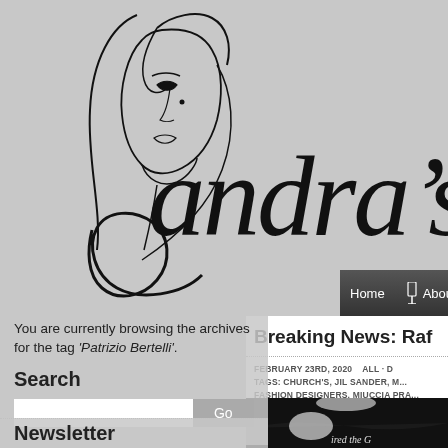[Figure (logo): Sandra's Closet fashion blog logo with stylized woman's face line drawing and cursive script text 'Sandra's Cl' (truncated)]
Home | About
Breaking News: Raf
FEBRUARY 23RD, 2020   ALL · 
TAGS: CHURCH'S, JIL SANDER, M... FASHION DESIGNERS, MIUCCIA PRA...
[Figure (photo): Dark black and white fashion photo, partially visible, showing text 'ired the G']
You are currently browsing the archives for the tag 'Patrizio Bertelli'.
Search
Go
Newsletter